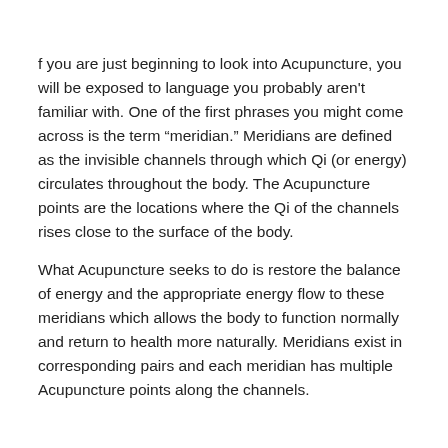f you are just beginning to look into Acupuncture, you will be exposed to language you probably aren't familiar with. One of the first phrases you might come across is the term “meridian.” Meridians are defined as the invisible channels through which Qi (or energy) circulates throughout the body. The Acupuncture points are the locations where the Qi of the channels rises close to the surface of the body.
What Acupuncture seeks to do is restore the balance of energy and the appropriate energy flow to these meridians which allows the body to function normally and return to health more naturally. Meridians exist in corresponding pairs and each meridian has multiple Acupuncture points along the channels.